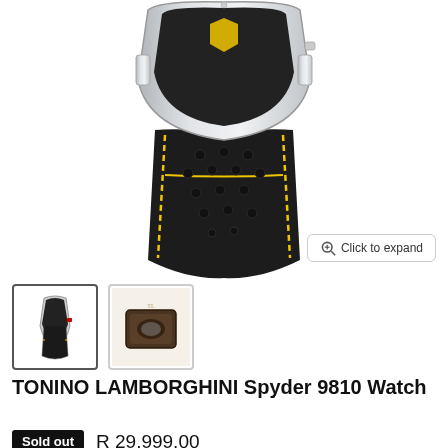[Figure (photo): Close-up photo of a Tonino Lamborghini Spyder 9810 watch showing the case and black leather strap with yellow stitching and perforations]
[Figure (photo): Thumbnail 1: Full watch view with black leather strap and yellow stitching]
[Figure (photo): Thumbnail 2: Watch in a brown/dark presentation box]
TONINO LAMBORGHINI Spyder 9810 Watch
Sold out  R 29,999.00
Customers rate us 4.7/5 based on 193 reviews